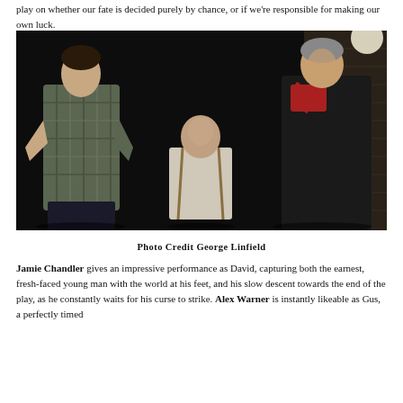play on whether our fate is decided purely by chance, or if we're responsible for making our own luck.
[Figure (photo): Theatre production photo showing three actors on a dark stage. On the left, a young man in a plaid shirt with hands on hips. In the center background, a bald man in a white shirt and suspenders seated. On the right, an older man in a dark coat with a red scarf.]
Photo Credit George Linfield
Jamie Chandler gives an impressive performance as David, capturing both the earnest, fresh-faced young man with the world at his feet, and his slow descent towards the end of the play, as he constantly waits for his curse to strike. Alex Warner is instantly likeable as Gus, a perfectly timed